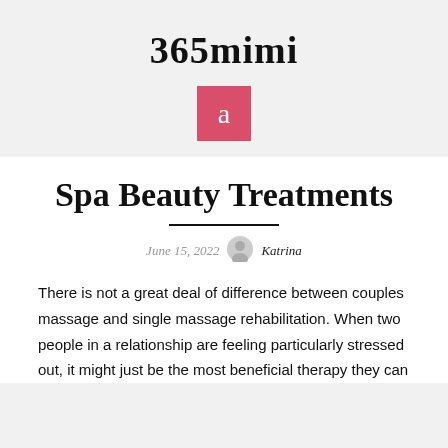365mimi
[Figure (logo): Pink/red square with white letter 'a' centered inside]
Spa Beauty Treatments
June 15, 2022  Katrina
There is not a great deal of difference between couples massage and single massage rehabilitation. When two people in a relationship are feeling particularly stressed out, it might just be the most beneficial therapy they can